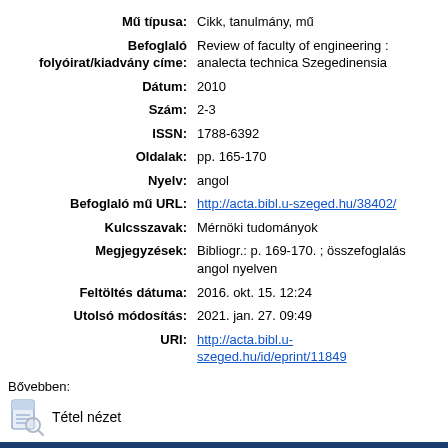| Mű típusa: | Cikk, tanulmány, mű |
| Befoglaló folyóirat/kiadvány címe: | Review of faculty of engineering : analecta technica Szegedinensia |
| Dátum: | 2010 |
| Szám: | 2-3 |
| ISSN: | 1788-6392 |
| Oldalak: | pp. 165-170 |
| Nyelv: | angol |
| Befoglaló mű URL: | http://acta.bibl.u-szeged.hu/38402/ |
| Kulcsszavak: | Mérnöki tudományok |
| Megjegyzések: | Bibliogr.: p. 169-170. ; összefoglalás angol nyelven |
| Feltöltés dátuma: | 2016. okt. 15. 12:24 |
| Utolsó módosítás: | 2021. jan. 27. 09:49 |
| URI: | http://acta.bibl.u-szeged.hu/id/eprint/11849 |
Bővebben:
Tétel nézet